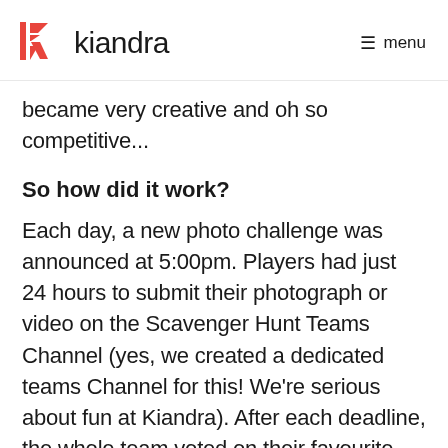kiandra   menu
became very creative and oh so competitive...
So how did it work?
Each day, a new photo challenge was announced at 5:00pm. Players had just 24 hours to submit their photograph or video on the Scavenger Hunt Teams Channel (yes, we created a dedicated teams Channel for this! We're serious about fun at Kiandra). After each deadline, the whole team voted on their favourite entries and winners were awarded points. A furiously debated leader board was shared each day...